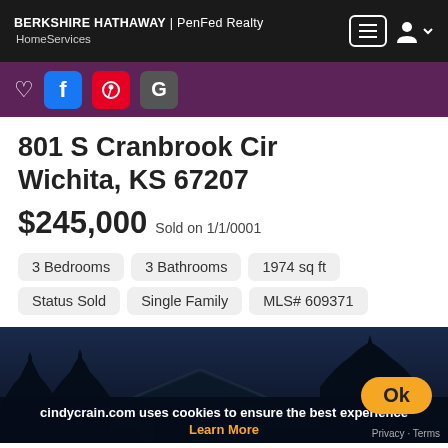BERKSHIRE HATHAWAY | PenFed Realty HomeServices
[Figure (screenshot): Social sharing bar with heart, Facebook, Pinterest, and Google icons on a purple background]
801 S Cranbrook Cir Wichita, KS 67207
$245,000 Sold on 1/1/0001
3 Bedrooms
3 Bathrooms
1974 sq ft
Status Sold
Single Family
MLS# 609371
[Figure (photo): Night photo of a house with dark trees silhouette]
cindycrain.com uses cookies to ensure the best experience Learn More